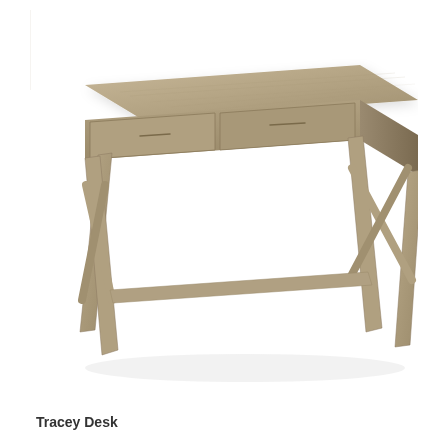[Figure (photo): A rustic farmhouse-style desk with a light gray-brown wood grain finish. The desk has a rectangular top surface, two side-by-side drawers on the front, and angled A-frame style legs with cross-brace supports. The legs are also in the same gray-brown wood color. The desk is photographed on a white background.]
Tracey Desk